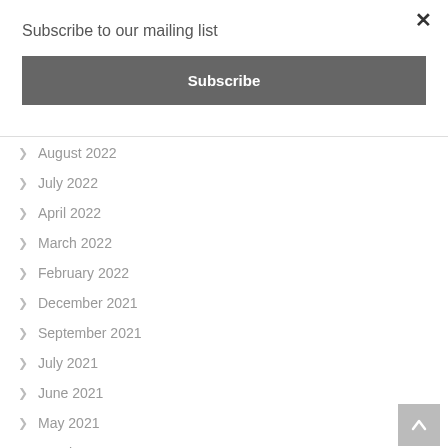×
Subscribe to our mailing list
Subscribe
August 2022
July 2022
April 2022
March 2022
February 2022
December 2021
September 2021
July 2021
June 2021
May 2021
March 2021
February 2021